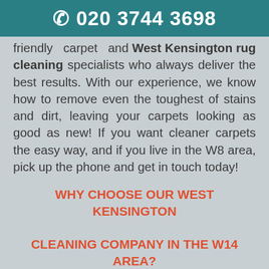☎ 020 3744 3698
friendly carpet and West Kensington rug cleaning specialists who always deliver the best results. With our experience, we know how to remove even the toughest of stains and dirt, leaving your carpets looking as good as new! If you want cleaner carpets the easy way, and if you live in the W8 area, pick up the phone and get in touch today!
WHY CHOOSE OUR WEST KENSINGTON CLEANING COMPANY IN THE W14 AREA?
Unlike other companies in the W14 area, our carpet cleaners West Kensington won't cost you